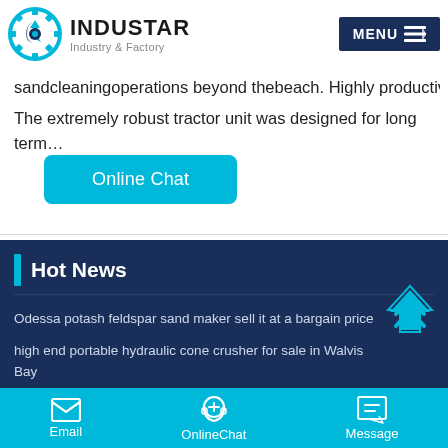INDUSTAR Industry & Factory
sandcleaningoperations beyond thebeach. Highly productive.
The extremely robust tractor unit was designed for long term…
Online Chat
Hot News
Odessa potash feldspar sand maker sell it at a bargain price
high end portable hydraulic cone crusher for sale in Walvis Bay
Email  OnlineChat  Message